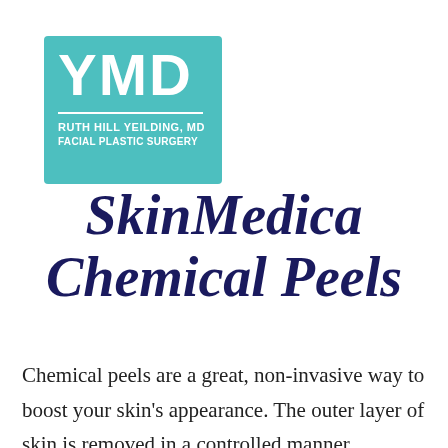[Figure (logo): YMD logo — teal/turquoise square with large white 'YMD' letters, horizontal divider line, 'RUTH HILL YEILDING, MD' and 'FACIAL PLASTIC SURGERY' text below in white]
SkinMedica Chemical Peels
Chemical peels are a great, non-invasive way to boost your skin's appearance. The outer layer of skin is removed in a controlled manner, allowing new skin to be regenerated. We offer 3 options, which will be chosen by your aesthetician based